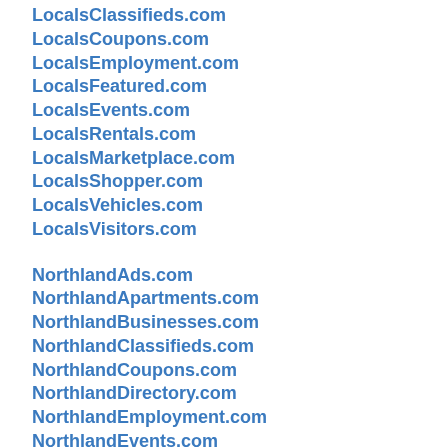LocalsClassifieds.com
LocalsCoupons.com
LocalsEmployment.com
LocalsFeatured.com
LocalsEvents.com
LocalsRentals.com
LocalsMarketplace.com
LocalsShopper.com
LocalsVehicles.com
LocalsVisitors.com
NorthlandAds.com
NorthlandApartments.com
NorthlandBusinesses.com
NorthlandClassifieds.com
NorthlandCoupons.com
NorthlandDirectory.com
NorthlandEmployment.com
NorthlandEvents.com